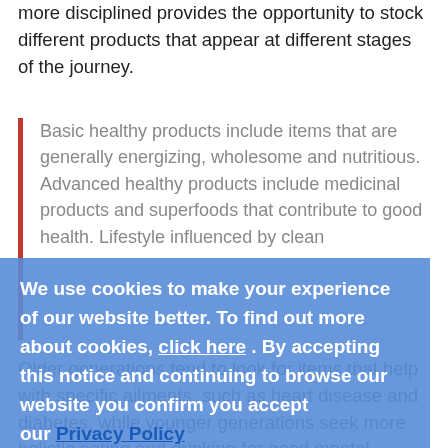more disciplined provides the opportunity to stock different products that appear at different stages of the journey.
Basic healthy products include items that are generally energizing, wholesome and nutritious. Advanced healthy products include medicinal products and superfoods that contribute to good health. Lifestyle influenced by clean
We use cookies to make your experience of our website better. To find out more about cookies, click here . By accepting this notice and continuing to browse our website you confirm you accept our Privacy Policy
OK
Older generations tend to look for items that help with specific ailments, such as heart disease and diabetes, while younger generations seek more holistic eating and drinking for good mental health. Retailers can cater to both by looking for commonalities, such as less processed products that contain less sugar and use beneficial ingredients.